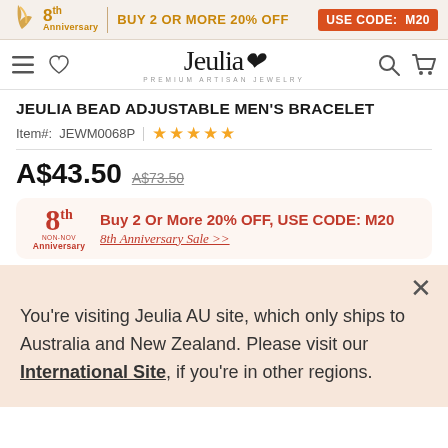8th Anniversary | BUY 2 OR MORE 20% OFF | USE CODE: M20
[Figure (logo): Jeulia Premium Artisan Jewelry logo with navigation icons]
JEULIA BEAD ADJUSTABLE MEN'S BRACELET
Item#: JEWM0068P | ★★★★★
A$43.50  A$73.50
Buy 2 Or More 20% OFF, USE CODE: M20 — 8th Anniversary Sale >>
You're visiting Jeulia AU site, which only ships to Australia and New Zealand. Please visit our International Site, if you're in other regions.